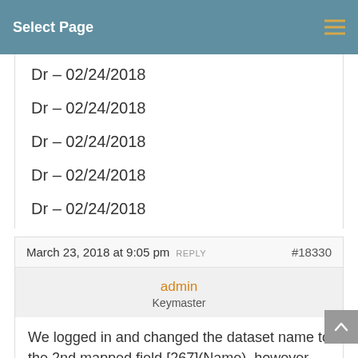Select Page
Dr – 02/24/2018
Dr – 02/24/2018
Dr – 02/24/2018
Dr – 02/24/2018
Dr – 02/24/2018
March 23, 2018 at 9:05 pm REPLY #18330
admin
Keymaster
We logged in and changed the dataset name to the 2nd mapped field [267](Name), however you can change it to any other